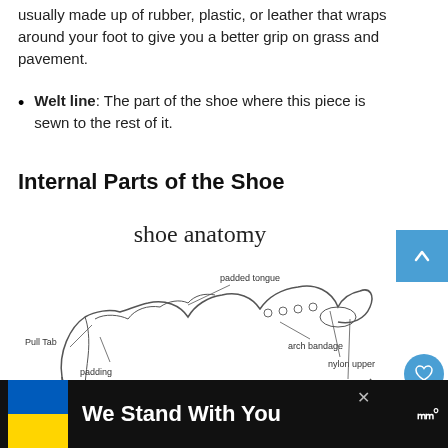usually made up of rubber, plastic, or leather that wraps around your foot to give you a better grip on grass and pavement.
Welt line: The part of the shoe where this piece is sewn to the rest of it.
Internal Parts of the Shoe
[Figure (illustration): Shoe anatomy diagram showing internal parts labeled: Pull Tab, padding, padded tongue, arch bandage, nylon upper, toe cap]